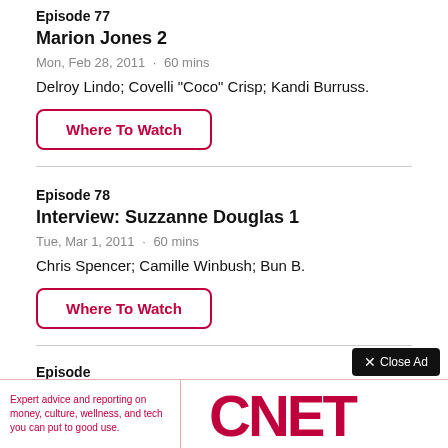Episode 77
Marion Jones 2
Mon, Feb 28, 2011 · 60 mins
Delroy Lindo; Covelli "Coco" Crisp; Kandi Burruss.
Where To Watch
Episode 78
Interview: Suzzanne Douglas 1
Tue, Mar 1, 2011 · 60 mins
Chris Spencer; Camille Winbush; Bun B.
Where To Watch
Episode
Expert advice and reporting on money, culture, wellness, and tech you can put to good use.
[Figure (logo): CNET logo in red]
Close Ad